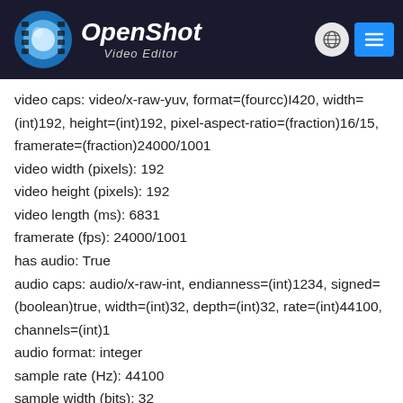[Figure (logo): OpenShot Video Editor logo with globe icon and hamburger menu button on dark navy header]
video caps: video/x-raw-yuv, format=(fourcc)I420, width=(int)192, height=(int)192, pixel-aspect-ratio=(fraction)16/15, framerate=(fraction)24000/1001
video width (pixels): 192
video height (pixels): 192
video length (ms): 6831
framerate (fps): 24000/1001
has audio: True
audio caps: audio/x-raw-int, endianness=(int)1234, signed=(boolean)true, width=(int)32, depth=(int)32, rate=(int)44100, channels=(int)1
audio format: integer
sample rate (Hz): 44100
sample width (bits): 32
sample depth (bits): 32
audio length (ms): 6831
audio channels: 1